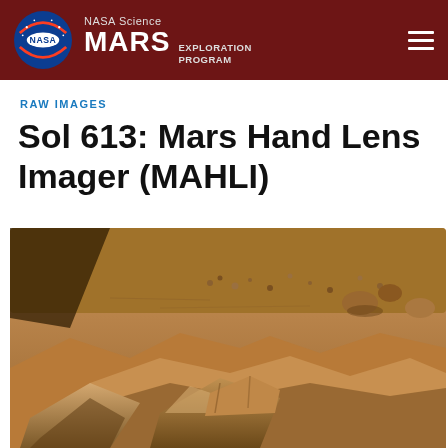NASA Science MARS EXPLORATION PROGRAM
RAW IMAGES
Sol 613: Mars Hand Lens Imager (MAHLI)
[Figure (photo): Mars surface close-up photograph showing rocky terrain with reddish-brown sandy ground, small pebbles, rocks, and layered rock formations taken by the MAHLI camera on Sol 613.]